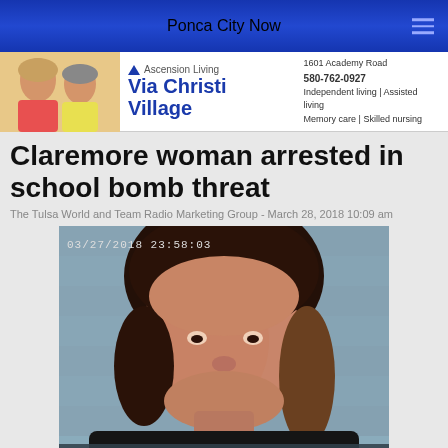Ponca City Now
[Figure (photo): Advertisement banner for Via Christi Village (Ascension Living) showing two elderly women smiling. Address: 1601 Academy Road, 580-762-0927. Independent living | Assisted living | Memory care | Skilled nursing]
Claremore woman arrested in school bomb threat
The Tulsa World and Team Radio Marketing Group - March 28, 2018 10:09 am
[Figure (photo): Mugshot photo of a woman from Rogers County Jail. Timestamp shown: 03/27/2018 23:58:03. Text at bottom reads ROGERS COUNTY JAIL.]